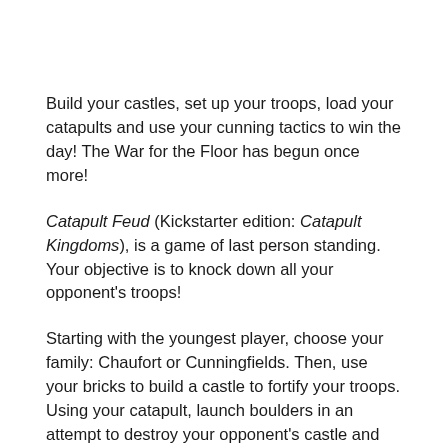Build your castles, set up your troops, load your catapults and use your cunning tactics to win the day! The War for the Floor has begun once more!
Catapult Feud (Kickstarter edition: Catapult Kingdoms), is a game of last person standing. Your objective is to knock down all your opponent's troops!
Starting with the youngest player, choose your family: Chaufort or Cunningfields. Then, use your bricks to build a castle to fortify your troops. Using your catapult, launch boulders in an attempt to destroy your opponent's castle and knock over their troops. When all troops of one family are knocked over, the battle is over. The winning family must have at least one troop standing upright.
The game is played in a series of rounds. During a round, starting with the youngest player, you take turns. Each player...